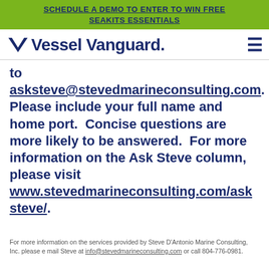SCHEDULE A DEMO TO ENTER TO WIN FREE SEAKITS ESSENTIALS
[Figure (logo): Vessel Vanguard logo with V chevron icon and hamburger menu icon]
to asksteve@stevedmarineconsulting.com. Please include your full name and home port.  Concise questions are more likely to be answered.  For more information on the Ask Steve column, please visit www.stevedmarineconsulting.com/asksteve/.
For more information on the services provided by Steve D'Antonio Marine Consulting, Inc. please e mail Steve at info@stevedmarineconsulting.com or call 804-776-0981.